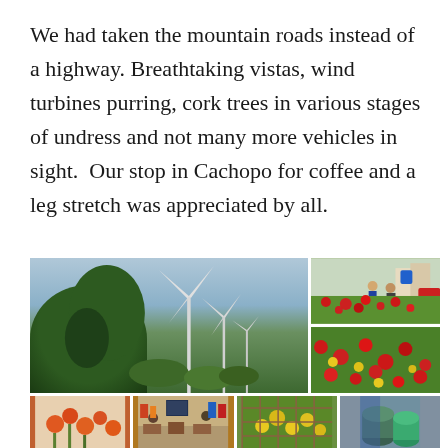We had taken the mountain roads instead of a highway. Breathtaking vistas, wind turbines purring, cork trees in various stages of undress and not many more vehicles in sight. Our stop in Cachopo for coffee and a leg stretch was appreciated by all.
[Figure (photo): A collage of photos from a mountain road trip: large photo of wind turbines among pine trees under a cloudy sky; smaller photos of red poppies in a green field with people, a wildflower meadow with red and yellow flowers, orange flowers, a roadside cafe interior, a garden with yellow flowers, and large green cylindrical objects.]